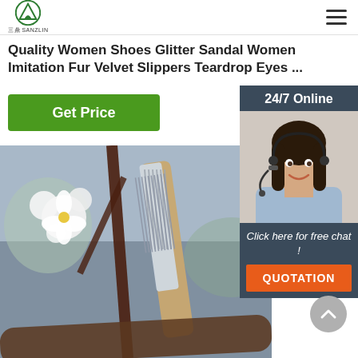三鼎 SANZLIN
Quality Women Shoes Glitter Sandal Women Imitation Fur Velvet Slippers Teardrop Eyes ...
Get Price
[Figure (photo): Close-up photo of a metallic comb with fine teeth, held near flowering white blossoms and branches against a blurred blue-grey background]
[Figure (photo): 24/7 Online chat widget showing a smiling woman with headset, with text 'Click here for free chat!' and an orange QUOTATION button]